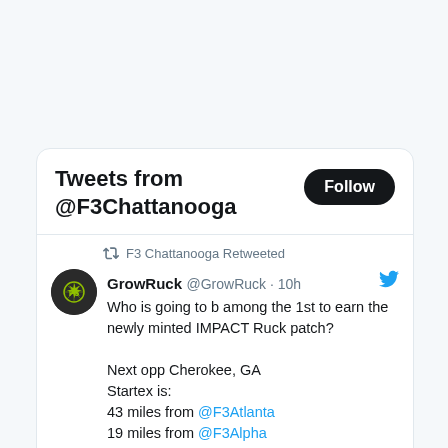Tweets from @F3Chattanooga
F3 Chattanooga Retweeted
GrowRuck @GrowRuck · 10h
Who is going to b among the 1st to earn the newly minted IMPACT Ruck patch?

Next opp Cherokee, GA
Startex is:
43 miles from @F3Atlanta
19 miles from @F3Alpha
124 miles from @F3Macon
93 miles from @F3Chattanooga